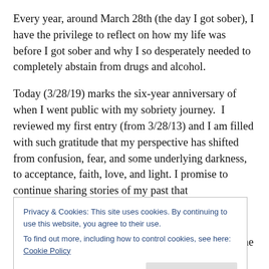Every year, around March 28th (the day I got sober), I have the privilege to reflect on how my life was before I got sober and why I so desperately needed to completely abstain from drugs and alcohol.
Today (3/28/19) marks the six-year anniversary of when I went public with my sobriety journey.  I reviewed my first entry (from 3/28/13) and I am filled with such gratitude that my perspective has shifted from confusion, fear, and some underlying darkness, to acceptance, faith, love, and light. I promise to continue sharing stories of my past that
Privacy & Cookies: This site uses cookies. By continuing to use this website, you agree to their use.
To find out more, including how to control cookies, see here: Cookie Policy
met with my sponsor (a fellow addict that mentors me in